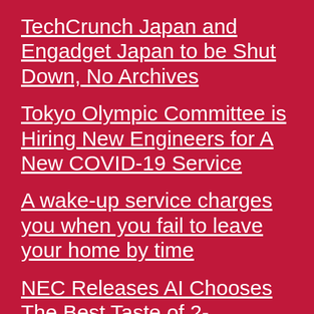TechCrunch Japan and Engadget Japan to be Shut Down, No Archives
Tokyo Olympic Committee is Hiring New Engineers for A New COVID-19 Service
A wake-up service charges you when you fail to leave your home by time
NEC Releases AI Chooses The Best Taste of 2-channelers Soul Snack Umaibou
i-mode cellphone shipment announced to cease by end of this year
□□□□
Android